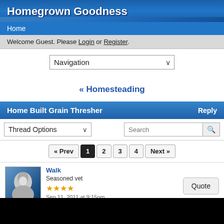Homegrown Goodness
Home
Welcome Guest. Please Login or Register.
Navigation
« Homesteading
Home Built Grain Thresher
Thread Options
« Prev  1  2  3  4  Next »
Walk
Seasoned vet
Sep 11, 2011 at 9:15pm